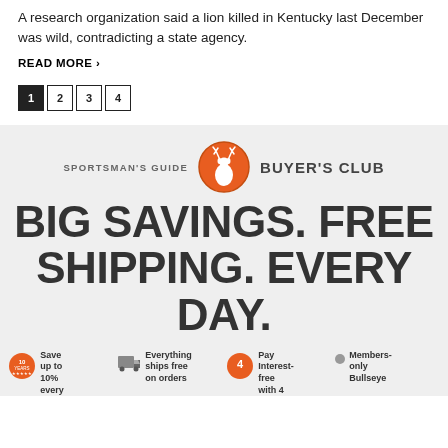A research organization said a lion killed in Kentucky last December was wild, contradicting a state agency.
READ MORE ›
1 2 3 4 (pagination)
[Figure (advertisement): Sportsman's Guide Buyer's Club advertisement. Orange circle logo with deer silhouette. Text: BIG SAVINGS. FREE SHIPPING. EVERY DAY. Features: Save up to 10% every [order], Everything ships free on orders [over amount], Pay Interest-free with 4 [payments], Members-only Bullseye [deals].]